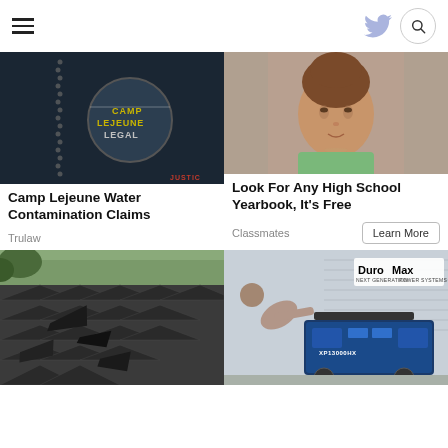Navigation bar with hamburger menu, Twitter icon, and search button
[Figure (photo): Camp Lejeune Legal dark background with dog tags and JUSTICE text in red]
Camp Lejeune Water Contamination Claims
Trulaw
[Figure (photo): Young woman in green top from vintage yearbook photo against brown background]
Look For Any High School Yearbook, It's Free
Classmates
[Figure (photo): Damaged roof with missing and broken shingles]
[Figure (photo): Man working on a DuroMax XP13000HX generator near a building]